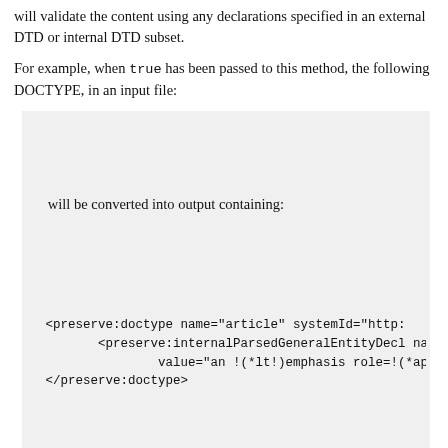will validate the content using any declarations specified in an external DTD or internal DTD subset.
For example, when true has been passed to this method, the following DOCTYPE, in an input file:
will be converted into output containing:
Parameters:
preserve - if true internal subset items are converted and preserved
See Also:
W3C XML 1.0 Specification (Fifth Edition)